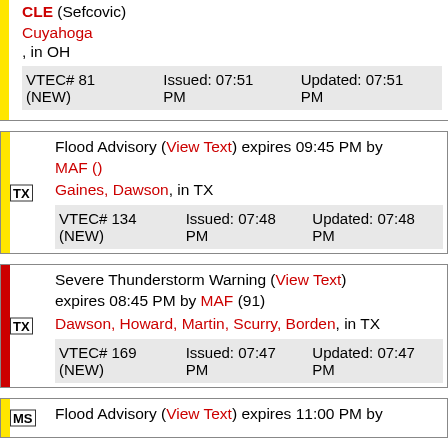CLE (Sefcovic)
Cuyahoga, in OH
VTEC# 81 (NEW) Issued: 07:51 PM Updated: 07:51 PM
TX Flood Advisory (View Text) expires 09:45 PM by MAF ()
Gaines, Dawson, in TX
VTEC# 134 (NEW) Issued: 07:48 PM Updated: 07:48 PM
TX Severe Thunderstorm Warning (View Text) expires 08:45 PM by MAF (91)
Dawson, Howard, Martin, Scurry, Borden, in TX
VTEC# 169 (NEW) Issued: 07:47 PM Updated: 07:47 PM
MS Flood Advisory (View Text) expires 11:00 PM by